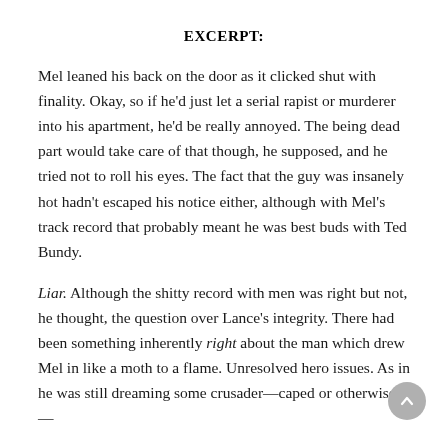EXCERPT:
Mel leaned his back on the door as it clicked shut with finality. Okay, so if he'd just let a serial rapist or murderer into his apartment, he'd be really annoyed. The being dead part would take care of that though, he supposed, and he tried not to roll his eyes. The fact that the guy was insanely hot hadn't escaped his notice either, although with Mel's track record that probably meant he was best buds with Ted Bundy.
Liar. Although the shitty record with men was right but not, he thought, the question over Lance's integrity. There had been something inherently right about the man which drew Mel in like a moth to a flame. Unresolved hero issues. As in he was still dreaming some crusader—caped or otherwise—